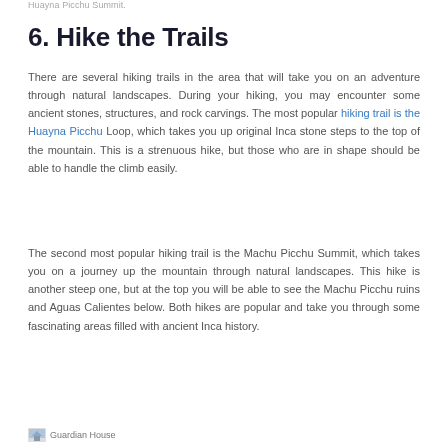Huayna Picchu Summit
6. Hike the Trails
There are several hiking trails in the area that will take you on an adventure through natural landscapes. During your hiking, you may encounter some ancient stones, structures, and rock carvings. The most popular hiking trail is the Huayna Picchu Loop, which takes you up original Inca stone steps to the top of the mountain. This is a strenuous hike, but those who are in shape should be able to handle the climb easily.
The second most popular hiking trail is the Machu Picchu Summit, which takes you on a journey up the mountain through natural landscapes. This hike is another steep one, but at the top you will be able to see the Machu Picchu ruins and Aguas Calientes below. Both hikes are popular and take you through some fascinating areas filled with ancient Inca history.
Guardian House